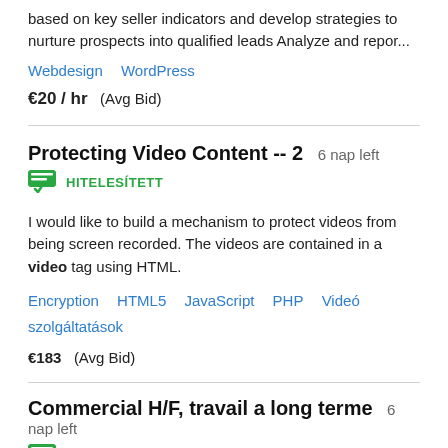based on key seller indicators and develop strategies to nurture prospects into qualified leads Analyze and repor...
Webdesign  WordPress
€20 / hr  (Avg Bid)
Protecting Video Content -- 2  6 nap left
HITELESÍTETT
I would like to build a mechanism to protect videos from being screen recorded. The videos are contained in a video tag using HTML.
Encryption  HTML5  JavaScript  PHP  Videó szolgáltatások
€183  (Avg Bid)
Commercial H/F, travail a long terme  6 nap left
HITELESÍTETT